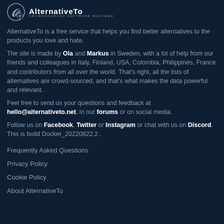AlternativeTo - CROWDSOURCED SOFTWARE RECOMMENDATIONS
AlternativeTo is a free service that helps you find better alternatives to the products you love and hate.
The site is made by Ola and Markus in Sweden, with a lot of help from our friends and colleagues in Italy, Finland, USA, Colombia, Philippines, France and contributors from all over the world. That's right, all the lists of alternatives are crowd-sourced, and that's what makes the data powerful and relevant.
Feel free to send us your questions and feedback at hello@alternativeto.net, in our forums or on social media.
Follow us on Facebook, Twitter or Instagram or chat with us on Discord. This is build Docker_20220822.2 .
Frequently Asked Questions
Privacy Policy
Cookie Policy
About AlternativeTo